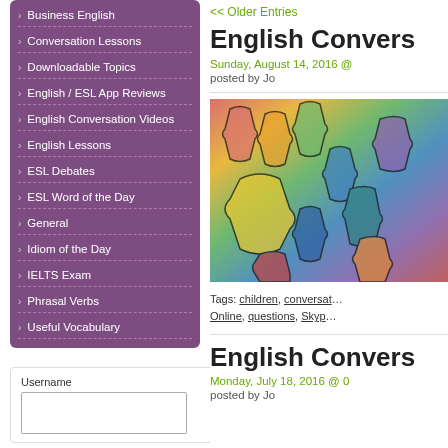Business English
Conversation Lessons
Downloadable Topics
English / ESL App Reviews
English Conversation Videos
English Lessons
ESL Debates
ESL Word of the Day
General
Idiom of the Day
IELTS Exam
Phrasal Verbs
Useful Vocabulary
Username
<< Older Entries
English Convers...
Sunday, August 14, 2016 @
posted by Jo
[Figure (photo): Colorful jigsaw puzzle pieces scattered together]
Tags: children, conversat... Online, questions, Skyp...
English Convers...
Monday, July 18, 2016 @ 0
posted by Jo